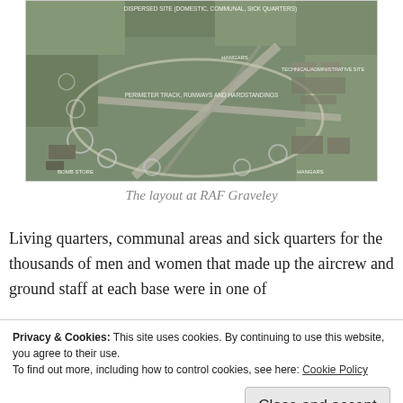[Figure (photo): Aerial photograph of RAF Graveley airbase showing the layout with labels for: Dispersed Site (Domestic, Communal, Sick Quarters), Hangars, Technical/Administrative Site, Perimeter Track, Runways and Hardstandings, Bomb Store, Hangars]
The layout at RAF Graveley
Living quarters, communal areas and sick quarters for the thousands of men and women that made up the aircrew and ground staff at each base were in one of
Privacy & Cookies: This site uses cookies. By continuing to use this website, you agree to their use.
To find out more, including how to control cookies, see here: Cookie Policy
[Close and accept]